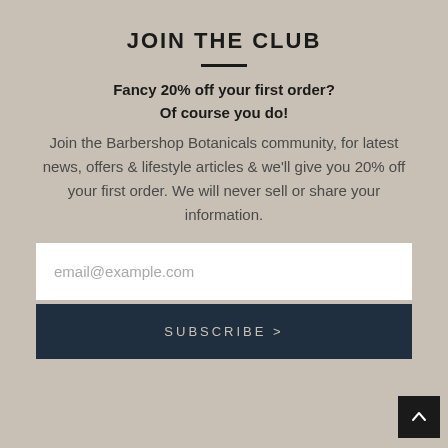JOIN THE CLUB
Fancy 20% off your first order?
Of course you do!
Join the Barbershop Botanicals community, for latest news, offers & lifestyle articles & we'll give you 20% off your first order. We will never sell or share your information.
email@example.com
SUBSCRIBE >